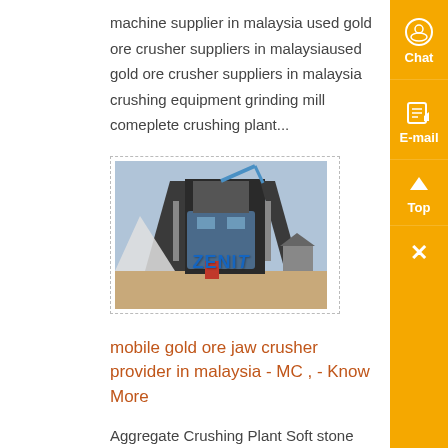machine supplier in malaysia used gold ore crusher suppliers in malaysiaused gold ore crusher suppliers in malaysia crushing equipment grinding mill comeplete crushing plant...
[Figure (photo): Industrial crushing plant machinery with ZENIT branding, showing large processing equipment with conveyor belts against an outdoor background.]
mobile gold ore jaw crusher provider in malaysia - MC , - Know More
Aggregate Crushing Plant Soft stone usually refers to the stone like limestone, marble, talc, gypsum, calcite, phosphorite, etc The classic production line for the soft stone is JAW CRUSHER (primary crusher) + IMPACT CRUSHER (secondary crusher), and with the auxiliaries